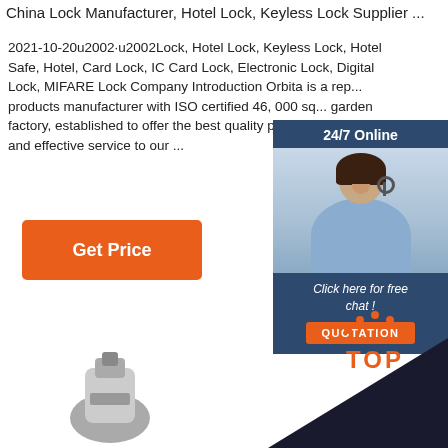China Lock Manufacturer, Hotel Lock, Keyless Lock Supplier ...
2021-10-20u2002·u2002Lock, Hotel Lock, Keyless Lock, Hotel Safe, Hotel, Card Lock, IC Card Lock, Electronic Lock, Digital Lock, MIFARE Lock Company Introduction Orbita is a reputable products manufacturer with ISO certified 46, 000 sq garden factory, established to offer the best quality p professional and effective service to our ...
[Figure (other): Orange 'Get Price' button]
[Figure (other): 24/7 Online chat widget with a customer service representative photo, 'Click here for free chat!' text and orange QUOTATION button]
[Figure (other): Orange TOP icon with dots above the letters]
[Figure (other): USB key device at the bottom left and dark triangular shape at bottom right]